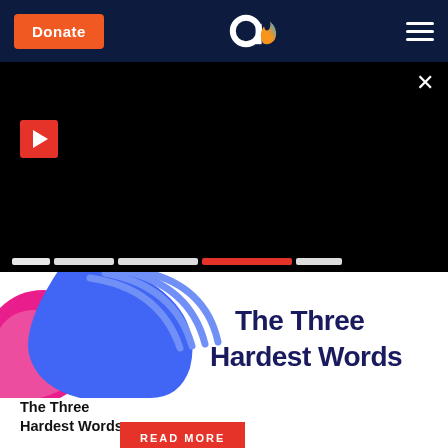Donate | [logo] | [menu]
[Figure (screenshot): Dark video player area with a red play button on the left, a close X on the upper right, and a red READ MORE button centered below]
[Figure (illustration): Illustration of two hands (one magenta/pink, one blue) clasping together with curved lines, and text overlay reading: The Three Hardest Words]
The Three Hardest Words